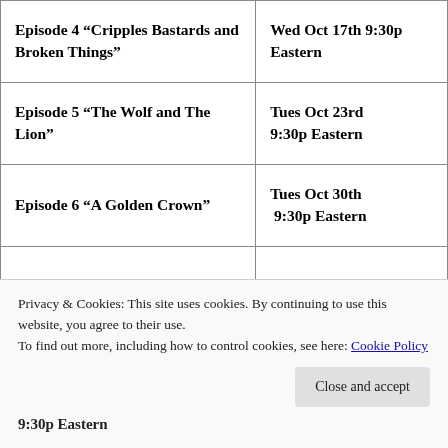| Episode | Air Date |
| --- | --- |
| Episode 4 “Cripples Bastards and Broken Things” | Wed Oct 17th 9:30p Eastern |
| Episode 5 “The Wolf and The Lion” | Tues Oct 23rd 9:30p Eastern |
| Episode 6 “A Golden Crown” | Tues Oct 30th 9:30p Eastern |
|  | Wed Nov 7th 9:30p
9:30p Eastern |
Privacy & Cookies: This site uses cookies. By continuing to use this website, you agree to their use.
To find out more, including how to control cookies, see here: Cookie Policy